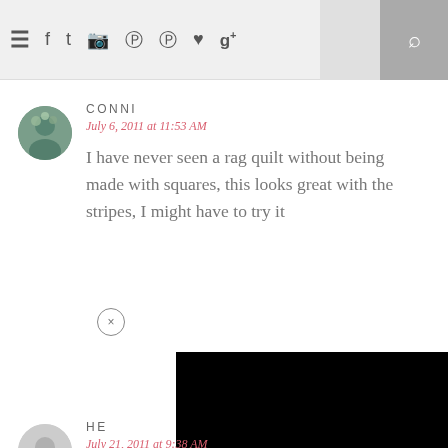Navigation bar with menu, social icons, and search
CONNI
July 6, 2011 at 11:53 AM
I have never seen a rag quilt without being made with squares, this looks great with the stripes, I might have to try it
[Figure (screenshot): Black overlay/video region covering the lower right portion of the page]
HE
July 21, 2011 at 9:38 AM